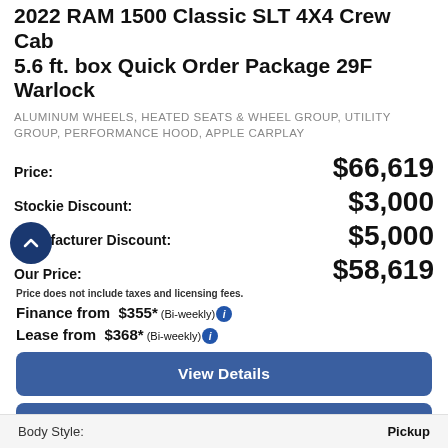2022 RAM 1500 Classic SLT 4X4 Crew Cab 5.6 ft. box Quick Order Package 29F Warlock
ALUMINUM WHEELS, HEATED SEATS & WHEEL GROUP, UTILITY GROUP, PERFORMANCE HOOD, APPLE CARPLAY
| Label | Value |
| --- | --- |
| Price: | $66,619 |
| Stockie Discount: | $3,000 |
| Manufacturer Discount: | $5,000 |
| Our Price: | $58,619 |
Price does not include taxes and licensing fees.
Finance from $355* (Bi-weekly)
Lease from $368* (Bi-weekly)
View Details
Start My Deal
| Body Style: | Pickup |
| --- | --- |